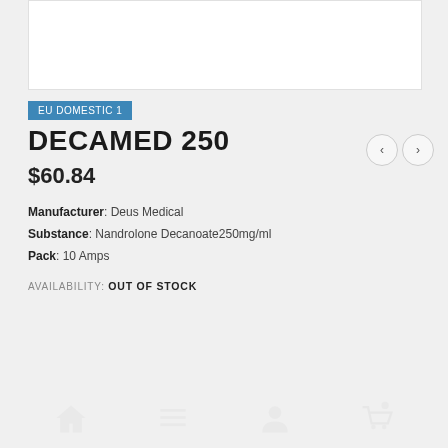[Figure (photo): Product image placeholder (white rectangle)]
EU DOMESTIC 1
DECAMED 250
$60.84
Manufacturer: Deus Medical
Substance: Nandrolone Decanoate250mg/ml
Pack: 10 Amps
AVAILABILITY: OUT OF STOCK
RELATED PRODUCTS